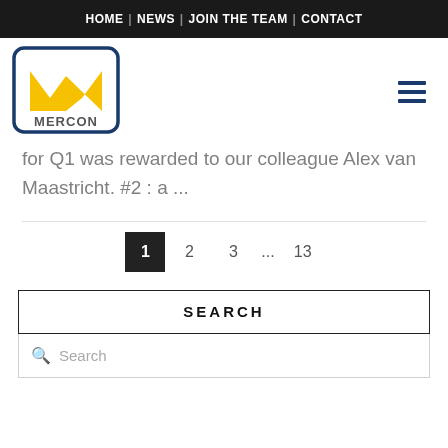HOME | NEWS | JOIN THE TEAM | CONTACT
[Figure (logo): Mercon logo: yellow M shape with MERCON text, rounded rectangle border in dark blue]
for Q1 was rewarded to our colleague Alex van Maastricht. #2 : a ...
1  2  3  ...  13
SEARCH
Search